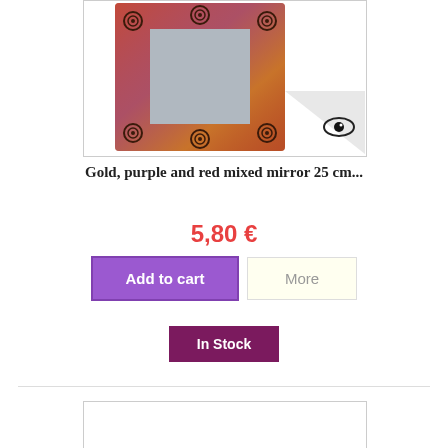[Figure (photo): Decorative square mirror with gold, purple and red mixed wooden frame featuring spiral ornaments, displayed against white background with a watermark eye logo in lower right corner]
Gold, purple and red mixed mirror 25 cm...
5,80 €
Add to cart
More
In Stock
[Figure (photo): Second product image area, partially visible at bottom of page]